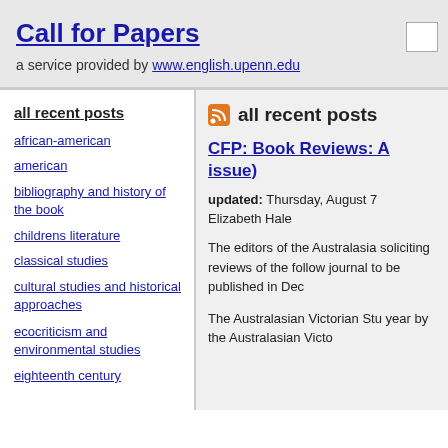Call for Papers
a service provided by www.english.upenn.edu
all recent posts
african-american
american
bibliography and history of the book
childrens literature
classical studies
cultural studies and historical approaches
ecocriticism and environmental studies
eighteenth century
all recent posts
CFP: Book Reviews: A issue)
updated: Thursday, August 7
Elizabeth Hale
The editors of the Australasia soliciting reviews of the follow journal to be published in Dec
The Australasian Victorian Stu year by the Australasian Victo